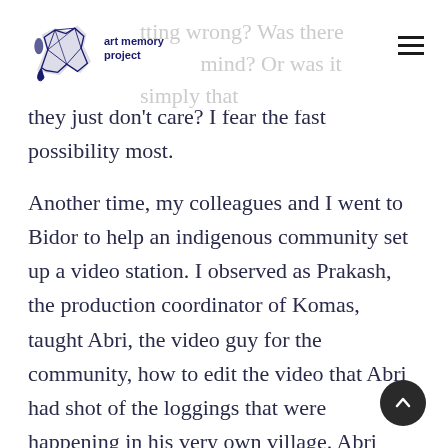art memory project
they just don't care? I fear the fast possibility most.
Another time, my colleagues and I went to Bidor to help an indigenous community set up a video station. I observed as Prakash, the production coordinator of Komas, taught Abri, the video guy for the community, how to edit the video that Abri had shot of the loggings that were happening in his very own village. Abri took down notes and nodded. Two weeks later, I called Abri to